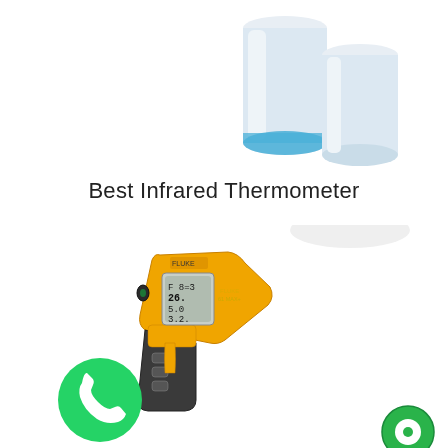[Figure (photo): Two white cylindrical filter cartridges side by side; the left one has a blue ring at the base]
Best Infrared Thermometer
[Figure (photo): Yellow and black Fluke infrared thermometer gun with LCD display, shown against a white background, with a green WhatsApp logo icon in the lower left and a green chat bubble icon in the lower right]